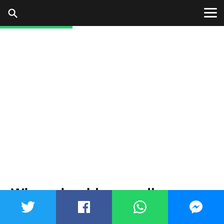Navigation bar with search and menu icons
[Figure (other): White advertisement/content area below navigation bar]
When should you sell a stock?
Social share bar with Twitter, Facebook, WhatsApp, and Messenger buttons